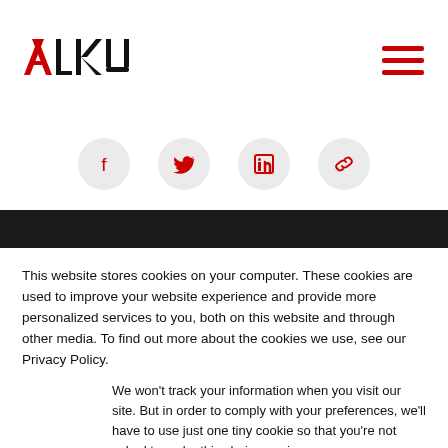[Figure (logo): ALKU company logo in red and black]
[Figure (infographic): Social media share icons: Facebook, Twitter, LinkedIn, and Link/chain icon, each in a light grey circle]
[Figure (other): Dark/black background band]
This website stores cookies on your computer. These cookies are used to improve your website experience and provide more personalized services to you, both on this website and through other media. To find out more about the cookies we use, see our Privacy Policy.
We won't track your information when you visit our site. But in order to comply with your preferences, we'll have to use just one tiny cookie so that you're not asked to make this choice again.
Accept
Decline